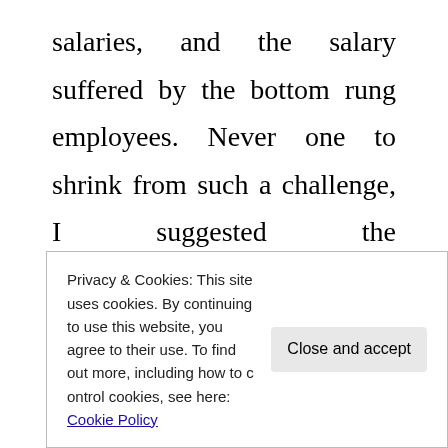salaries, and the salary suffered by the bottom rung employees. Never one to shrink from such a challenge, I suggested the responsibilities of a manager were so much heavier than those placed upon the shoulders of the average employee, and the influence she could have on the fortunes of the company though poor performance so much
Privacy & Cookies: This site uses cookies. By continuing to use this website, you agree to their use. To find out more, including how to control cookies, see here: Cookie Policy